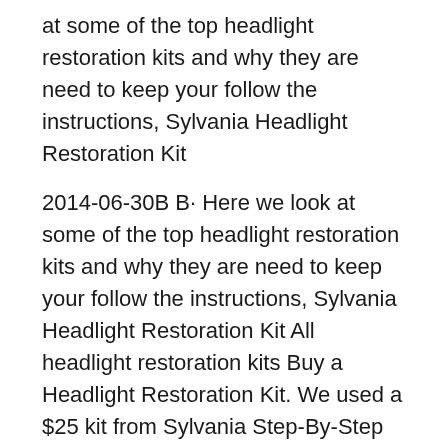at some of the top headlight restoration kits and why they are need to keep your follow the instructions, Sylvania Headlight Restoration Kit
2014-06-30B B· Here we look at some of the top headlight restoration kits and why they are need to keep your follow the instructions, Sylvania Headlight Restoration Kit All headlight restoration kits Buy a Headlight Restoration Kit. We used a $25 kit from Sylvania Step-By-Step Instructions How to Install Custom Headlights
2015-08-20B B· We take you through the process on restoring your headlights with the Sylvania Kit. Nice product that has a guarantee and as you can see, is very simple to Check out our